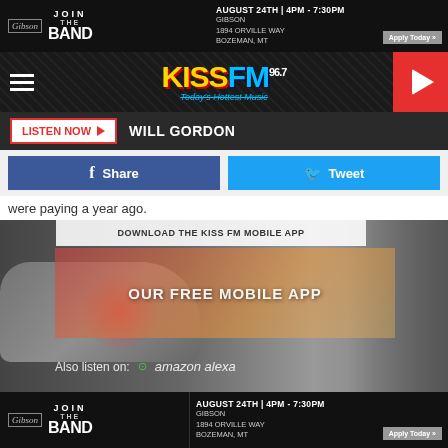[Figure (screenshot): Gibson 'Join the Band' advertisement banner - August 24th 4PM-7:30PM, Gibson, 1894 Orville Way, Bozeman MT, Apply Today button]
[Figure (logo): KISS FM 96.7 radio station logo with tagline 'Today's Hottest Music' and play button]
LISTEN NOW  WILL GORDON
[Figure (screenshot): Facebook Share and Twitter Tweet social sharing buttons]
were paying a year ago.
[Figure (screenshot): Download the Kiss FM Mobile App overlay - OUR FREE MOBILE APP, Also listen on: amazon alexa, gas station background image]
[Figure (screenshot): Gibson 'Join the Band' advertisement banner bottom - August 24th 4PM-7:30PM, Gibson, 1894 Orville Way, Bozeman MT, Apply Today button]